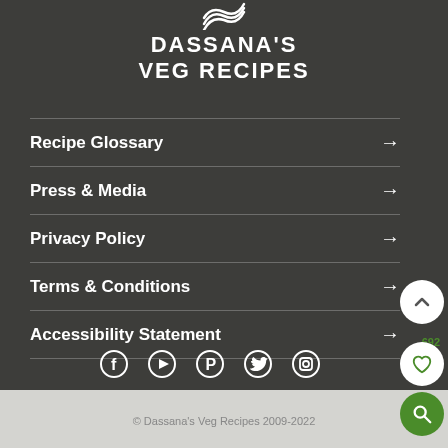[Figure (logo): Dassana's Veg Recipes logo with wave/leaf icon above text]
DASSANA'S VEG RECIPES
Recipe Glossary →
Press & Media →
Privacy Policy →
Terms & Conditions →
Accessibility Statement →
[Figure (infographic): Social media icons: Facebook, YouTube, Pinterest, Twitter, Instagram]
© Dassana's Veg Recipes 2009-2022